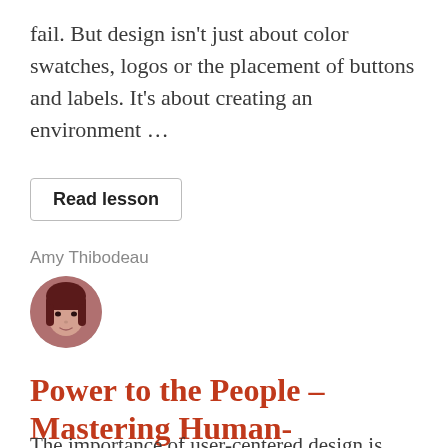fail. But design isn't just about color swatches, logos or the placement of buttons and labels. It's about creating an environment …
Read lesson
Amy Thibodeau
[Figure (photo): Circular avatar photo of Amy Thibodeau, a woman with dark hair and bangs]
Power to the People – Mastering Human-Centered Design
The importance of user-centered design is well